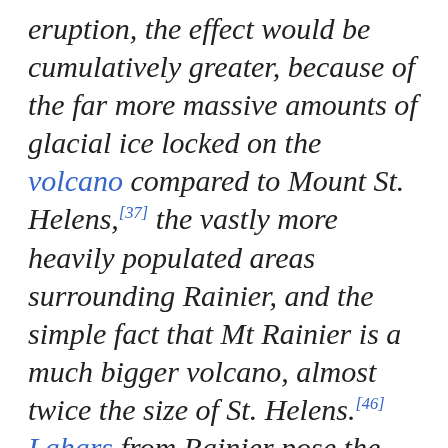eruption, the effect would be cumulatively greater, because of the far more massive amounts of glacial ice locked on the volcano compared to Mount St. Helens,[37] the vastly more heavily populated areas surrounding Rainier, and the simple fact that Mt Rainier is a much bigger volcano, almost twice the size of St. Helens.[46] Lahars from Rainier pose the most risk to life and property,[47] as many communities lie atop older lahar deposits. According to the United States Geological Survey (USGS)